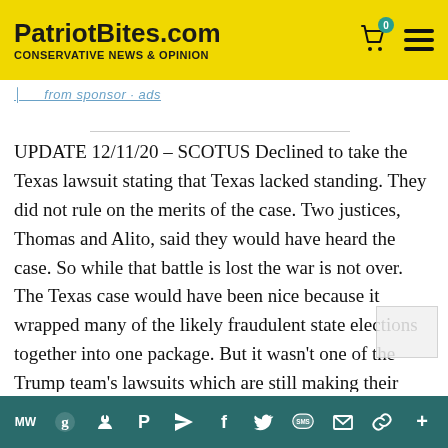PatriotBites.com — CONSERVATIVE NEWS & OPINION
UPDATE 12/11/20 – SCOTUS Declined to take the Texas lawsuit stating that Texas lacked standing. They did not rule on the merits of the case. Two justices, Thomas and Alito, said they would have heard the case. So while that battle is lost the war is not over. The Texas case would have been nice because it wrapped many of the likely fraudulent state elections together into one package. But it wasn't one of the Trump team's lawsuits which are still making their way through the lower courts. There are still cases moving through the lower courts to the Supreme Court but they won't make it in time for Monday's Electoral College. That doesn't mean the Electoral College couldn't be overturned
Share bar with icons: MW, g, share, P, send, f, Twitter, SMS, mail, link, +